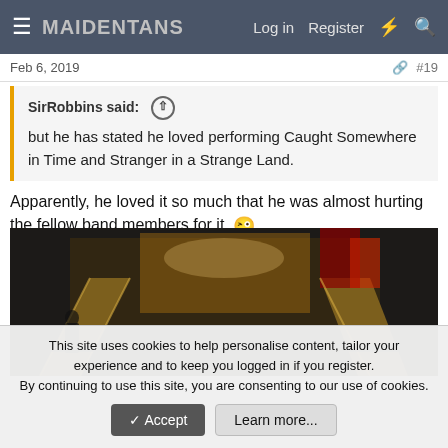MAIDENFANS — Log in  Register
Feb 6, 2019   #19
SirRobbins said: ↑
but he has stated he loved performing Caught Somewhere in Time and Stranger in a Strange Land.
Apparently, he loved it so much that he was almost hurting the fellow band members for it. 😜
[Figure (photo): Dark stage photograph showing a concert stage set with large structural elements, diagonal beams, and what appears to be a castle/fortress backdrop with red and gold colors. Blurry figures and equipment visible on stage.]
This site uses cookies to help personalise content, tailor your experience and to keep you logged in if you register.
By continuing to use this site, you are consenting to our use of cookies.